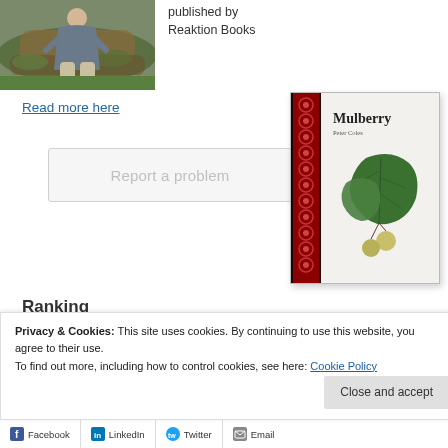[Figure (photo): Author sitting outdoors near a mossy log, wearing grey jacket and light trousers]
published by Reaktion Books
Read more here
[Figure (illustration): Book cover of 'Mulberry' by Peter Coles, published by Reaktion Books. Cover shows mulberry leaves and berries on a light background with a dark patterned spine.]
Report a problem
Ranking
Privacy & Cookies: This site uses cookies. By continuing to use this website, you agree to their use.
To find out more, including how to control cookies, see here: Cookie Policy
Close and accept
Facebook
LinkedIn
Twitter
Email